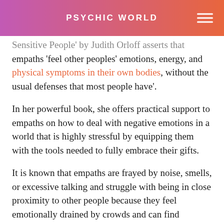PSYCHIC WORLD
Sensitive People' by Judith Orloff asserts that empaths 'feel other peoples' emotions, energy, and physical symptoms in their own bodies, without the usual defenses that most people have'.
In her powerful book, she offers practical support to empaths on how to deal with negative emotions in a world that is highly stressful by equipping them with the tools needed to fully embrace their gifts.
It is known that empaths are frayed by noise, smells, or excessive talking and struggle with being in close proximity to other people because they feel emotionally drained by crowds and can find multiple simultaneous connections difficult to manage.
Intimate relationships and closeness with others